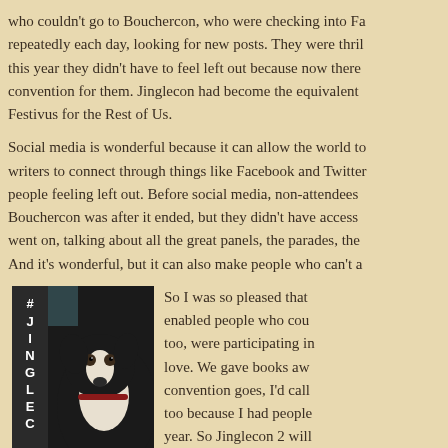who couldn't go to Bouchercon, who were checking into Facebook repeatedly each day, looking for new posts. They were thrilled that this year they didn't have to feel left out because now there was a convention for them. Jinglecon had become the equivalent of Festivus for the Rest of Us.
Social media is wonderful because it can allow the world to allow writers to connect through things like Facebook and Twitter without people feeling left out. Before social media, non-attendees knew Bouchercon was after it ended, but they didn't have access to what went on, talking about all the great panels, the parades, the... And it's wonderful, but it can also make people who can't a...
[Figure (photo): Photo of a black and white dog (appears to be a border collie or similar breed), with a dark vertical banner on the left side reading '#JINGLEC' vertically in white bold text.]
So I was so pleased that enabled people who cou too, were participating in love. We gave books aw convention goes, I'd call too because I had people year. So Jinglecon 2 will